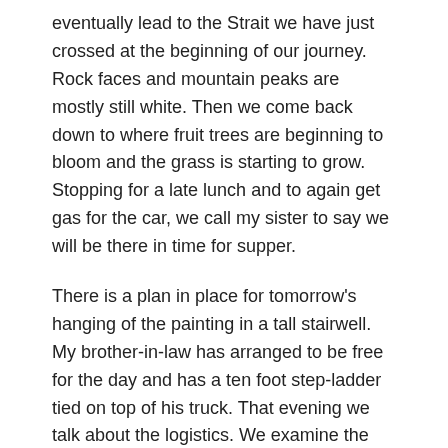eventually lead to the Strait we have just crossed at the beginning of our journey. Rock faces and mountain peaks are mostly still white. Then we come back down to where fruit trees are beginning to bloom and the grass is starting to grow. Stopping for a late lunch and to again get gas for the car, we call my sister to say we will be there in time for supper.
There is a plan in place for tomorrow's hanging of the painting in a tall stairwell. My brother-in-law has arranged to be free for the day and has a ten foot step-ladder tied on top of his truck. That evening we talk about the logistics. We examine the hanging hardware and gather up a level and towels to go under the ladder. I already have a big thick measuring tape and a hammer in my toolkit.